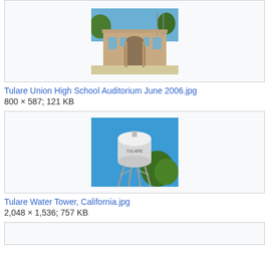[Figure (photo): Photo of Tulare Union High School Auditorium, a tan/beige building with arched entrance, set against blue sky with trees]
Tulare Union High School Auditorium June 2006.jpg
800 × 587; 121 KB
[Figure (photo): Photo of Tulare Water Tower against blue sky, a white cylindrical tank on metal legs with trees in background]
Tulare Water Tower, California.jpg
2,048 × 1,536; 757 KB
[Figure (photo): Partial view of another file entry (cut off at bottom of page)]